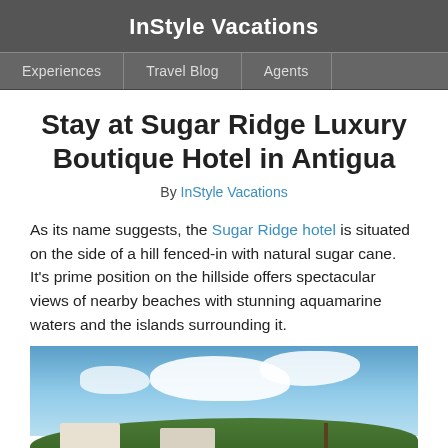InStyle Vacations
Experiences | Travel Blog | Agents
Stay at Sugar Ridge Luxury Boutique Hotel in Antigua
By InStyle Vacations
As its name suggests, the Sugar Ridge hotel is situated on the side of a hill fenced-in with natural sugar cane. It's prime position on the hillside offers spectacular views of nearby beaches with stunning aquamarine waters and the islands surrounding it.
[Figure (photo): Exterior photo of Sugar Ridge hotel on a hillside surrounded by lush green trees with a bright blue sky and white clouds above; white sun umbrellas visible in the foreground.]